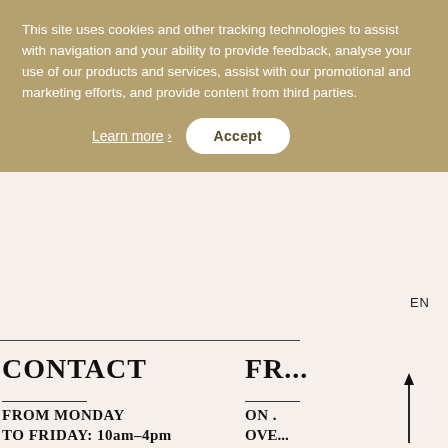This site uses cookies and other tracking technologies to assist with navigation and your ability to provide feedback, analyse your use of our products and services, assist with our promotional and marketing efforts, and provide content from third parties.
Learn more ›   Accept
EN
CONTACT
FROM MONDAY
TO FRIDAY: 10am–4pm
+30 2108 993 867
FR...
ON ...
OVE...
IN G...
TO TOP